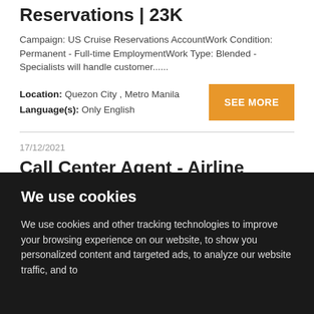Reservations | 23K
Campaign: US Cruise Reservations AccountWork Condition: Permanent - Full-time EmploymentWork Type: Blended - Specialists will handle customer......
Location: Quezon City , Metro Manila
Language(s): Only English
SEE MORE
17/12/2021
Call Center Agent - Airline Ticketing 15K Salary With Paid Training
We use cookies
We use cookies and other tracking technologies to improve your browsing experience on our website, to show you personalized content and targeted ads, to analyze our website traffic, and to understand where our visitors are coming from